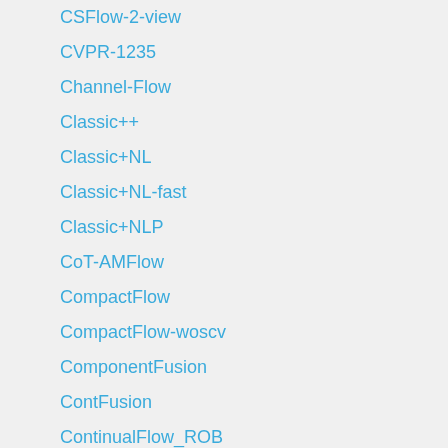CSFlow-2-view
CVPR-1235
Channel-Flow
Classic++
Classic+NL
Classic+NL-fast
Classic+NLP
CoT-AMFlow
CompactFlow
CompactFlow-woscv
ComponentFusion
ContFusion
ContinualFlow_ROB
DA_opticalflow
DCFlow
DCFlow+KF
DCFlow+KF2
DCVNet
DDCNet_B0_tf_sintel